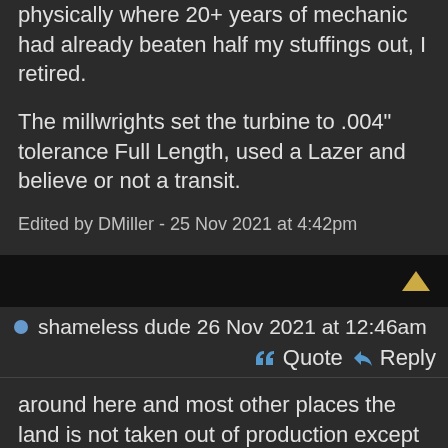physically where 20+ years of mechanic had already beaten half my stuffings out, I retired.
The millwrights set the turbine to .004" tolerance Full Length, used a Lazer and believe or not a transit.
Edited by DMiller - 25 Nov 2021 at 4:42pm
shameless dude 26 Nov 2021 at 12:46am
Quote  Reply
around here and most other places the land is not taken out of production except where the tower is and so many feet around it. the ground can still be farmed but the land owner gets a good rental fee